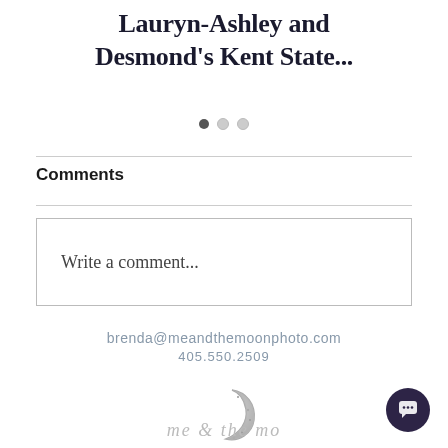Lauryn-Ashley and Desmond's Kent State...
[Figure (other): Carousel pagination dots: one filled dark dot and two empty/outline dots]
Comments
Write a comment...
brenda@meandthemoonphoto.com
405.550.2509
[Figure (logo): Me and the Moon photography logo — crescent moon and cursive script text]